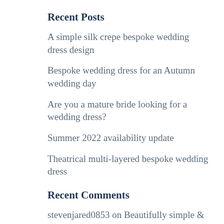Recent Posts
A simple silk crepe bespoke wedding dress design
Bespoke wedding dress for an Autumn wedding day
Are you a mature bride looking for a wedding dress?
Summer 2022 availability update
Theatrical multi-layered bespoke wedding dress
Recent Comments
stevenjared0853 on Beautifully simple & elegant wedding dress design